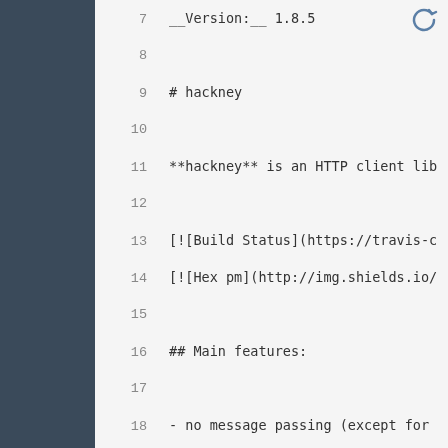7    __Version:__ 1.8.5
8
9    # hackney
10
11   **hackney** is an HTTP client lib
12
13   [![Build Status](https://travis-c
14   [![Hex pm](http://img.shields.io/
15
16   ## Main features:
17
18   - no message passing (except for
19     directly streamed to the curren
20   - binary streams
21   - SSL support
22   - Keepalive handling
23   - basic authentication
24   - stream the response and the req
25   - fetch a response asynchronously
26   - multipart support (streamed or
27   - chunked encoding support